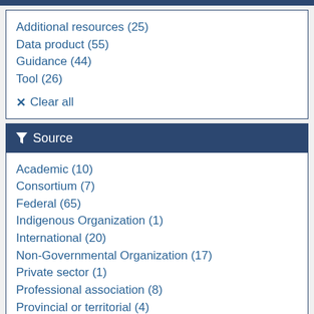Additional resources (25)
Data product (55)
Guidance (44)
Tool (26)
✕ Clear all
Source
Academic (10)
Consortium (7)
Federal (65)
Indigenous Organization (1)
International (20)
Non-Governmental Organization (17)
Private sector (1)
Professional association (8)
Provincial or territorial (4)